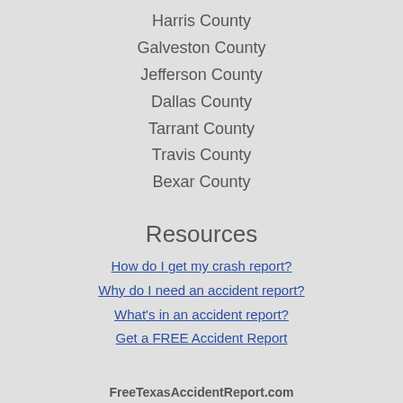Harris County
Galveston County
Jefferson County
Dallas County
Tarrant County
Travis County
Bexar County
Resources
How do I get my crash report?
Why do I need an accident report?
What's in an accident report?
Get a FREE Accident Report
FreeTexasAccidentReport.com